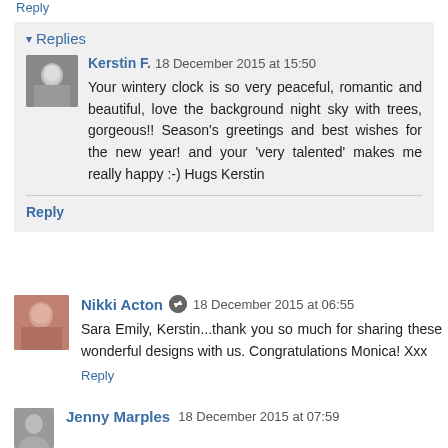Reply
▸ Replies
Kerstin F. 18 December 2015 at 15:50
Your wintery clock is so very peaceful, romantic and beautiful, love the background night sky with trees, gorgeous!! Season's greetings and best wishes for the new year! and your 'very talented' makes me really happy :-) Hugs Kerstin
Reply
Nikki Acton 18 December 2015 at 06:55
Sara Emily, Kerstin...thank you so much for sharing these wonderful designs with us. Congratulations Monica! Xxx
Reply
Jenny Marples 18 December 2015 at 07:59